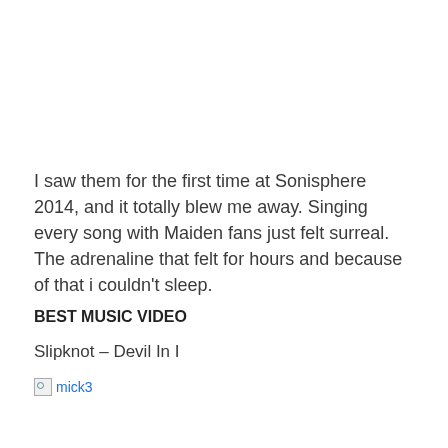I saw them for the first time at Sonisphere 2014, and it totally blew me away. Singing every song with Maiden fans just felt surreal. The adrenaline that felt for hours and because of that i couldn't sleep.
BEST MUSIC VIDEO
Slipknot – Devil In I
[Figure (other): Broken image placeholder labeled 'mick3']